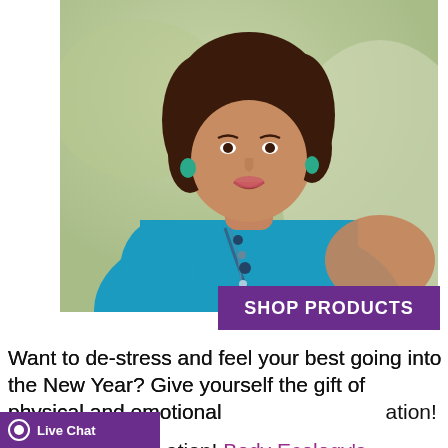[Figure (photo): Portrait photo of a woman with dark curly hair wearing a teal/turquoise short-sleeve top and long beaded necklace with matching earrings, smiling, on a blurred green background]
SHOP PRODUCTS
Want to de-stress and feel your best going into the New Year? Give yourself the gift of physical and emotional ation! Body Ecology's
Live Chat